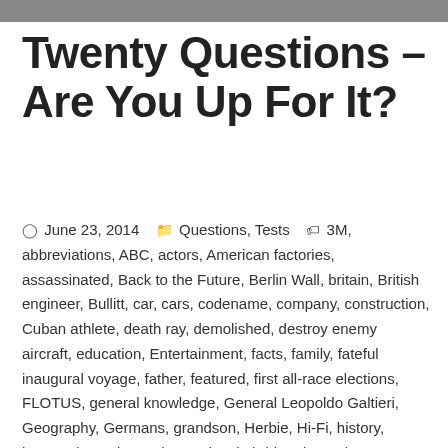Twenty Questions – Are You Up For It?
June 23, 2014  Questions, Tests  3M, abbreviations, ABC, actors, American factories, assassinated, Back to the Future, Berlin Wall, britain, British engineer, Bullitt, car, cars, codename, company, construction, Cuban athlete, death ray, demolished, destroy enemy aircraft, education, Entertainment, facts, family, fateful inaugural voyage, father, featured, first all-race elections, FLOTUS, general knowledge, General Leopoldo Galtieri, Geography, Germans, grandson, Herbie, Hi-Fi, history, hottest desert in North America, hybrid, Independence, invent, Javier Sotomayor, King Faisal, lead characters, Lonesome Dove, male member, mandarin, Men's High Jump World Record, Mindy, Misc, Miscellaneous, Mork, Mork & Mindy, movies, music, nephew, Norway, Operation Barbarossa, Orange, plans to invade, politics, President, questions, quiz, Quiz Day,